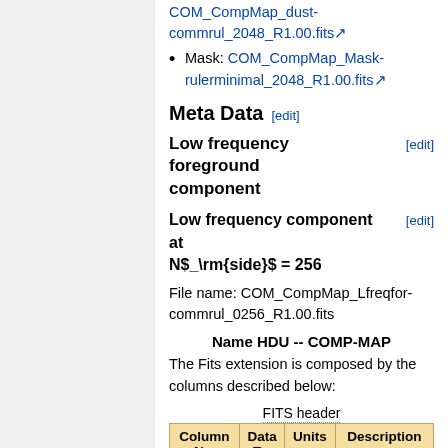COM_CompMap_dust-commrul_2048_R1.00.fits
Mask: COM_CompMap_Mask-rulerminimal_2048_R1.00.fits
Meta Data [edit]
Low frequency foreground component [edit]
Low frequency component at N$_\rm{side}$ = 256 [edit]
File name: COM_CompMap_Lfreqfor-commrul_0256_R1.00.fits
Name HDU -- COMP-MAP
The Fits extension is composed by the columns described below:
FITS header
| Column Name | Data Type | Units | Description |
| --- | --- | --- | --- |